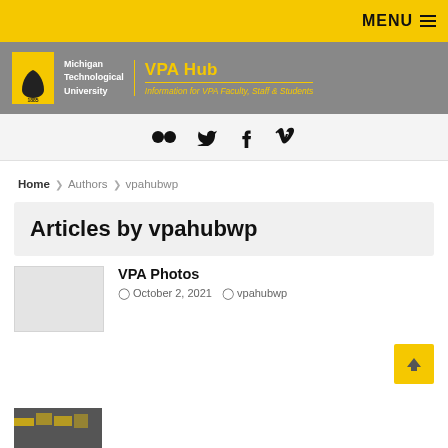MENU
[Figure (logo): Michigan Technological University logo with VPA Hub header - Information for VPA Faculty, Staff & Students]
[Figure (infographic): Social media icons: Flickr, Twitter, Facebook, Vimeo]
Home > Authors > vpahubwp
Articles by vpahubwp
VPA Photos
October 2, 2021  vpahubwp